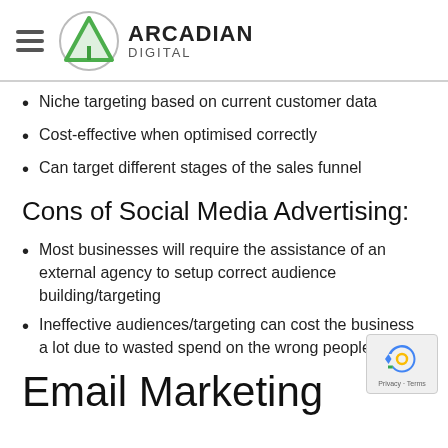ARCADIAN DIGITAL
Niche targeting based on current customer data
Cost-effective when optimised correctly
Can target different stages of the sales funnel
Cons of Social Media Advertising:
Most businesses will require the assistance of an external agency to setup correct audience building/targeting
Ineffective audiences/targeting can cost the business a lot due to wasted spend on the wrong people
Email Marketing